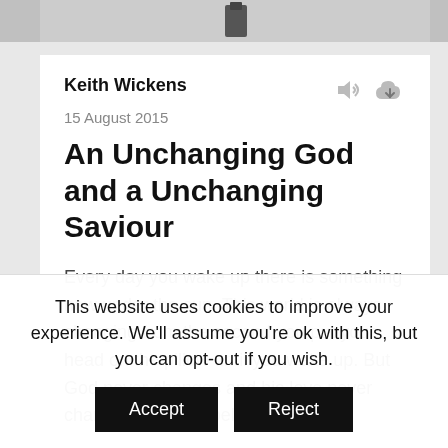[Figure (photo): Top image bar, partially visible, dark decorative image with a dark character or element visible]
Keith Wickens
15 August 2015
An Unchanging God and a Unchanging Saviour
Every day you wake up there is something new under the sun. This world is always changing from the second you put your head on the pillow until you wake up. But God never changes and his love never changes. The Gospel
This website uses cookies to improve your experience. We'll assume you're ok with this, but you can opt-out if you wish.
Accept
Reject